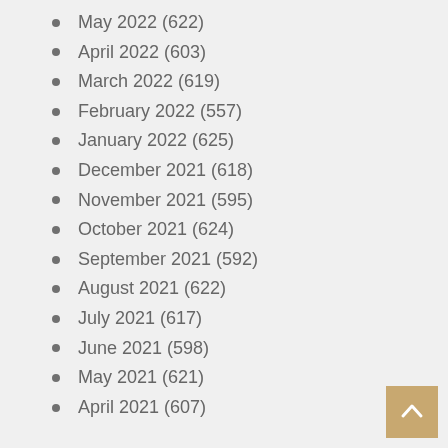May 2022 (622)
April 2022 (603)
March 2022 (619)
February 2022 (557)
January 2022 (625)
December 2021 (618)
November 2021 (595)
October 2021 (624)
September 2021 (592)
August 2021 (622)
July 2021 (617)
June 2021 (598)
May 2021 (621)
April 2021 (607)